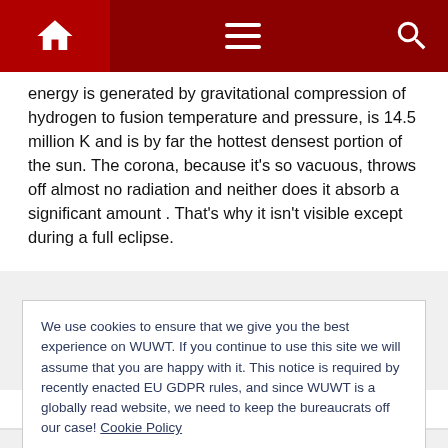Navigation bar with home, menu and search icons
energy is generated by gravitational compression of hydrogen to fusion temperature and pressure, is 14.5 million K and is by far the hottest densest portion of the sun. The corona, because it's so vacuous, throws off almost no radiation and neither does it absorb a significant amount . That's why it isn't visible except during a full eclipse.
+ 0 —
We use cookies to ensure that we give you the best experience on WUWT. If you continue to use this site we will assume that you are happy with it. This notice is required by recently enacted EU GDPR rules, and since WUWT is a globally read website, we need to keep the bureaucrats off our case! Cookie Policy Close and accept